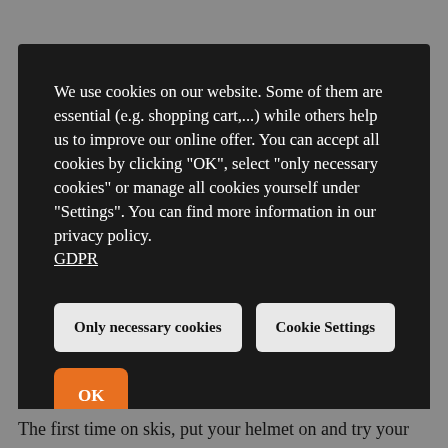We use cookies on our website. Some of them are essential (e.g. shopping cart,...) while others help us to improve our online offer. You can accept all cookies by clicking "OK", select "only necessary cookies" or manage all cookies yourself under "Settings". You can find more information in our privacy policy. GDPR
Only necessary cookies
Cookie Settings
OK
The first time on skis, put your helmet on and try your